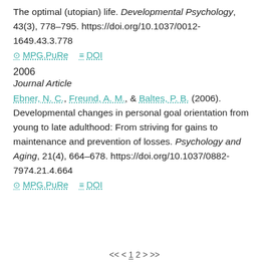The optimal (utopian) life. Developmental Psychology, 43(3), 778–795. https://doi.org/10.1037/0012-1649.43.3.778
MPG.PuRe   DOI
2006
Journal Article
Ebner, N. C., Freund, A. M., & Baltes, P. B. (2006). Developmental changes in personal goal orientation from young to late adulthood: From striving for gains to maintenance and prevention of losses. Psychology and Aging, 21(4), 664–678. https://doi.org/10.1037/0882-7974.21.4.664
MPG.PuRe   DOI
<< < 1 2 > >>